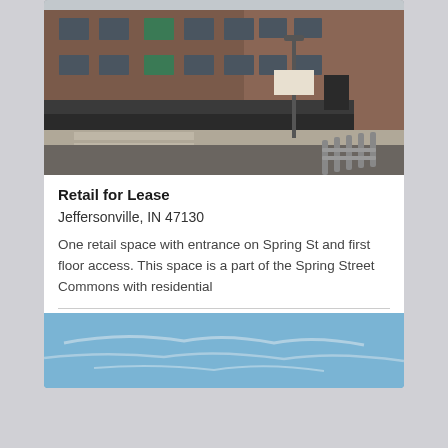[Figure (photo): Exterior photo of a retail building with brick facade, awnings, and street-level storefronts at the corner of Spring Street, with sidewalk and bollards in the foreground.]
Retail for Lease
Jeffersonville, IN 47130
One retail space with entrance on Spring St and first floor access. This space is a part of the Spring Street Commons with residential
[Figure (photo): Partial photo showing a blue sky with light clouds, bottom of second listing card.]